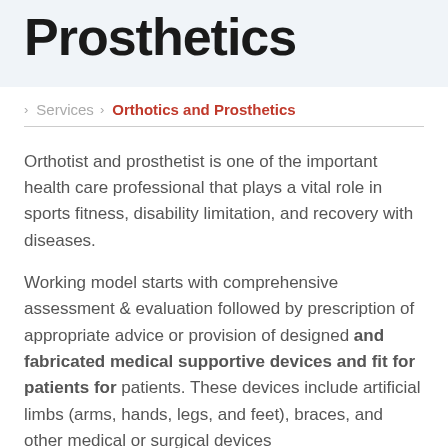Prosthetics
> Services > Orthotics and Prosthetics
Orthotist and prosthetist is one of the important health care professional that plays a vital role in sports fitness, disability limitation, and recovery with diseases.
Working model starts with comprehensive assessment & evaluation followed by prescription of appropriate advice or provision of designed and fabricated medical supportive devices and fit for patients for patients. These devices include artificial limbs (arms, hands, legs, and feet), braces, and other medical or surgical devices